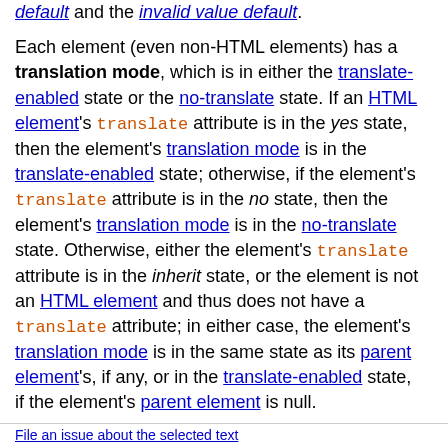default and the invalid value default.
Each element (even non-HTML elements) has a translation mode, which is in either the translate-enabled state or the no-translate state. If an HTML element's translate attribute is in the yes state, then the element's translation mode is in the translate-enabled state; otherwise, if the element's translate attribute is in the no state, then the element's translation mode is in the no-translate state. Otherwise, either the element's translate attribute is in the inherit state, or the element is not an HTML element and thus does not have a translate attribute; in either case, the element's translation mode is in the same state as its parent element's, if any, or in the translate-enabled state, if the element's parent element is null.
When an element is in the translate-enabled state, the element's translatable attributes and the values of its Text node children are to be translated when the page is localized.
File an issue about the selected text